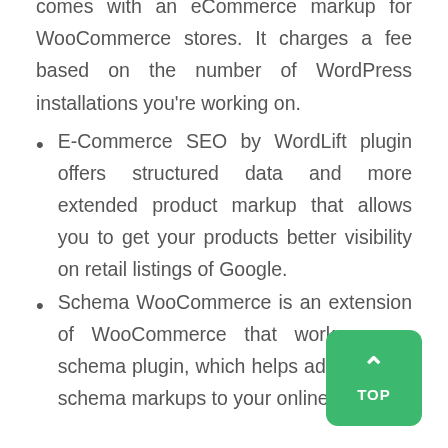comes with an eCommerce markup for WooCommerce stores. It charges a fee based on the number of WordPress installations you're working on.
E-Commerce SEO by WordLift plugin offers structured data and more extended product markup that allows you to get your products better visibility on retail listings of Google.
Schema WooCommerce is an extension of WooCommerce that works as a schema plugin, which helps add relevant schema markups to your online store.